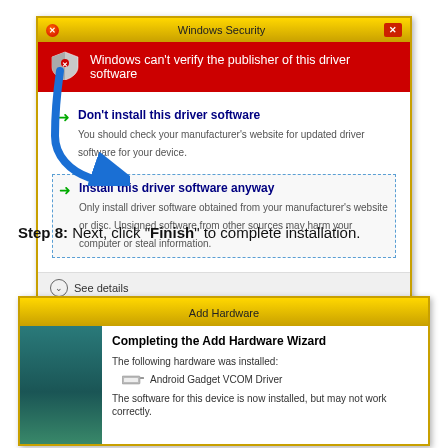[Figure (screenshot): Windows Security dialog warning that Windows can't verify the publisher of the driver software. Has two options: 'Don't install this driver software' and 'Install this driver software anyway' (highlighted with dashed border and blue arrow pointing to it). Footer shows 'See details'.]
Step 8: Next, click "Finish" to complete installation.
[Figure (screenshot): Add Hardware wizard dialog showing 'Completing the Add Hardware Wizard' with text 'The following hardware was installed: Android Gadget VCOM Driver'. Footer text: 'The software for this device is now installed, but may not work correctly.']